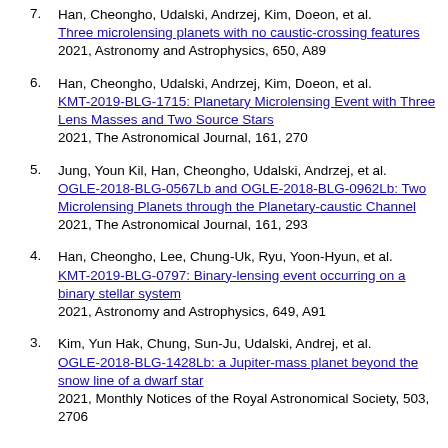7. Han, Cheongho, Udalski, Andrzej, Kim, Doeon, et al. Three microlensing planets with no caustic-crossing features 2021, Astronomy and Astrophysics, 650, A89
6. Han, Cheongho, Udalski, Andrzej, Kim, Doeon, et al. KMT-2019-BLG-1715: Planetary Microlensing Event with Three Lens Masses and Two Source Stars 2021, The Astronomical Journal, 161, 270
5. Jung, Youn Kil, Han, Cheongho, Udalski, Andrzej, et al. OGLE-2018-BLG-0567Lb and OGLE-2018-BLG-0962Lb: Two Microlensing Planets through the Planetary-caustic Channel 2021, The Astronomical Journal, 161, 293
4. Han, Cheongho, Lee, Chung-Uk, Ryu, Yoon-Hyun, et al. KMT-2019-BLG-0797: Binary-lensing event occurring on a binary stellar system 2021, Astronomy and Astrophysics, 649, A91
3. Kim, Yun Hak, Chung, Sun-Ju, Udalski, Andrej, et al. OGLE-2018-BLG-1428Lb: a Jupiter-mass planet beyond the snow line of a dwarf star 2021, Monthly Notices of the Royal Astronomical Society, 503, 2706